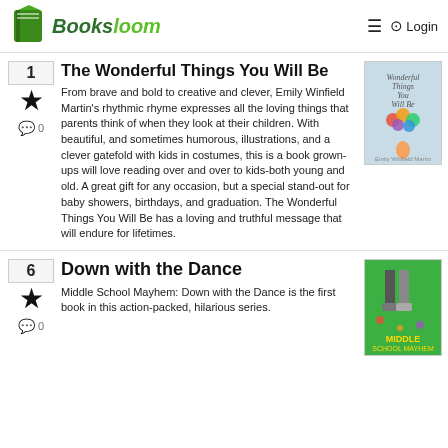Booksloom | Login
1 The Wonderful Things You Will Be
From brave and bold to creative and clever, Emily Winfield Martin's rhythmic rhyme expresses all the loving things that parents think of when they look at their children. With beautiful, and sometimes humorous, illustrations, and a clever gatefold with kids in costumes, this is a book grown-ups will love reading over and over to kids-both young and old. A great gift for any occasion, but a special stand-out for baby showers, birthdays, and graduation. The Wonderful Things You Will Be has a loving and truthful message that will endure for lifetimes.
[Figure (illustration): Book cover of The Wonderful Things You Will Be showing a child with colorful balloons]
6 Down with the Dance
Middle School Mayhem: Down with the Dance is the first book in this action-packed, hilarious series.
[Figure (illustration): Book cover of Middle School Mayhem: Down with the Dance showing legs standing on a green background]